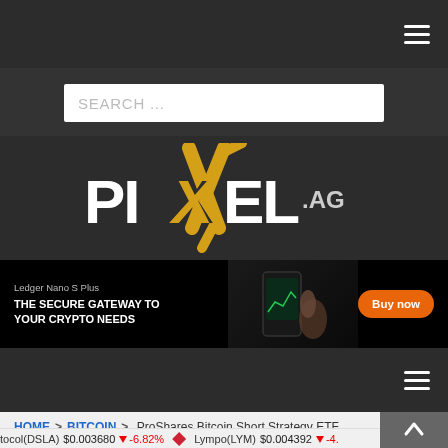Navigation bar with hamburger menu
SEARCH ...
[Figure (logo): PIXEL.AG logo with yellow/golden X letter on dark background]
[Figure (infographic): Ledger Nano S Plus advertisement banner: THE SECURE GATEWAY TO YOUR CRYPTO NEEDS. Buy now button.]
Second navigation bar with hamburger menu
HOME > BITCOIN > ProShares Bitcoin Short Strategy ETF (BITI) Trades Over 870,000 Shares on Second Trading Day
tocol(DSLA) $0.003680 ↓ -6.82%  Lympo(LYM) $0.004392 ↓ -4.